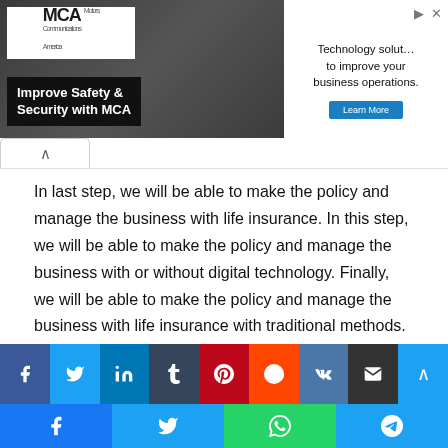[Figure (photo): MCA advertisement banner showing 'Improve Safety & Security with MCA' with people in background and a second ad for 'Technology solutions to improve your business operations.']
In last step, we will be able to make the policy and manage the business with life insurance. In this step, we will be able to make the policy and manage the business with or without digital technology. Finally, we will be able to make the policy and manage the business with life insurance with traditional methods.

So everything is starting to point to show its right path after all.
[Figure (infographic): Social media share buttons row: Facebook, Twitter, LinkedIn, Tumblr, Pinterest, Reddit, VK, Email, and a scroll-to-top button]
[Figure (infographic): Bottom mobile share bar: Facebook, Twitter, WhatsApp, Telegram]